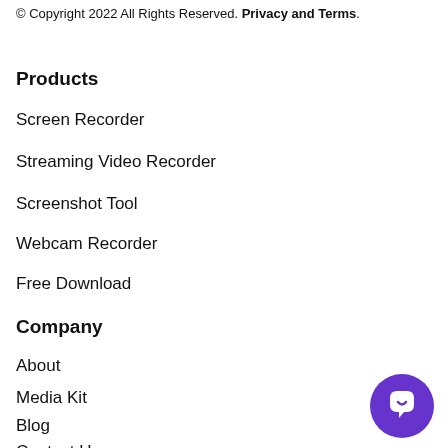© Copyright 2022 All Rights Reserved. Privacy and Terms.
Products
Screen Recorder
Streaming Video Recorder
Screenshot Tool
Webcam Recorder
Free Download
Company
About
Media Kit
Blog
Contact Us
[Figure (illustration): Purple circular chat/support button with white speech bubble icon]